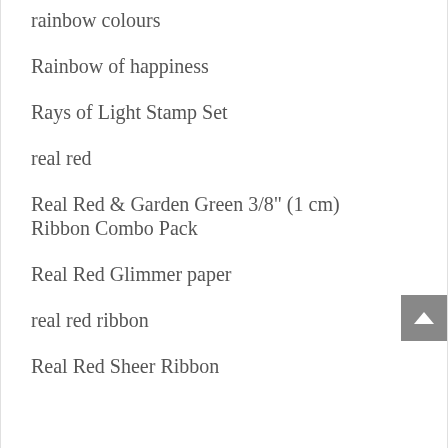rainbow colours
Rainbow of happiness
Rays of Light Stamp Set
real red
Real Red & Garden Green 3/8" (1 cm) Ribbon Combo Pack
Real Red Glimmer paper
real red ribbon
Real Red Sheer Ribbon